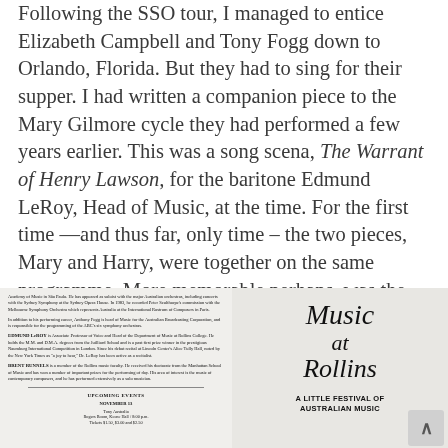Following the SSO tour, I managed to entice Elizabeth Campbell and Tony Fogg down to Orlando, Florida. But they had to sing for their supper. I had written a companion piece to the Mary Gilmore cycle they had performed a few years earlier. This was a song scena, The Warrant of Henry Lawson, for the baritone Edmund LeRoy, Head of Music, at the time. For the first time —and thus far, only time – the two pieces, Mary and Harry, were together on the same programme. More memorable perhaps, was the sight of the nervous pair eating 'gator for lunch.
[Figure (photo): A photograph of a concert programme booklet for 'Music at Rollins – A Little Festival of Australian Music'. The left page shows performer biographies for Edmund LeRoy and Brent Runnels, plus upcoming events including a November 13 Tony Australia event. The right page shows decorative italic script reading 'Music at Rollins' and below it 'A LITTLE FESTIVAL OF AUSTRALIAN MUSIC'.]